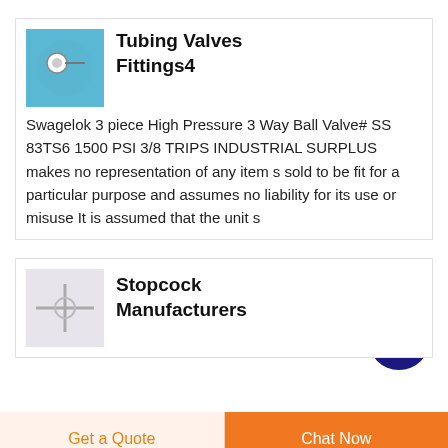Tubing Valves Fittings4
Swagelok 3 piece High Pressure 3 Way Ball Valve# SS 83TS6 1500 PSI 3/8 TRIPS INDUSTRIAL SURPLUS makes no representation of any item s sold to be fit for a particular purpose and assumes no liability for its use or misuse It is assumed that the unit s
Stopcock Manufacturers